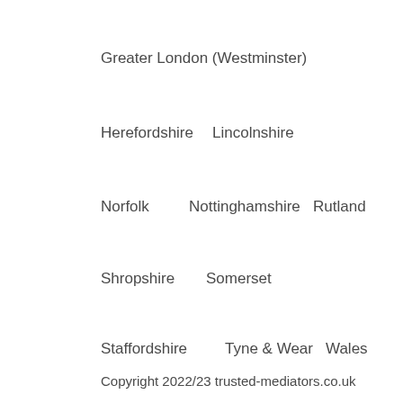Greater London (Westminster)
Herefordshire
Lincolnshire
Norfolk
Nottinghamshire
Rutland
Shropshire
Somerset
Staffordshire
Tyne & Wear
Wales
Copyright 2022/23 trusted-mediators.co.uk